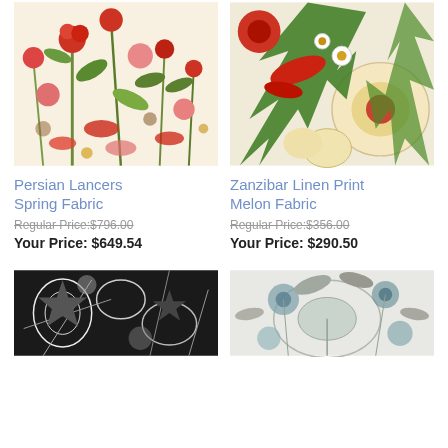[Figure (photo): Persian Lancers Spring Fabric — colorful floral pattern with red, green, and pink flowers on cream background]
[Figure (photo): Zanzibar Linen Print Melon Fabric — tropical floral pattern with red, green, and cream large flowers and exotic birds]
Persian Lancers Spring Fabric
Regular Price:$796.00
Your Price: $649.54
Zanzibar Linen Print Melon Fabric
Regular Price:$356.00
Your Price: $290.50
[Figure (photo): Dark floral fabric with black, white and grey botanical pattern]
[Figure (photo): Light grey and teal floral fabric with large botanical peacock motif]